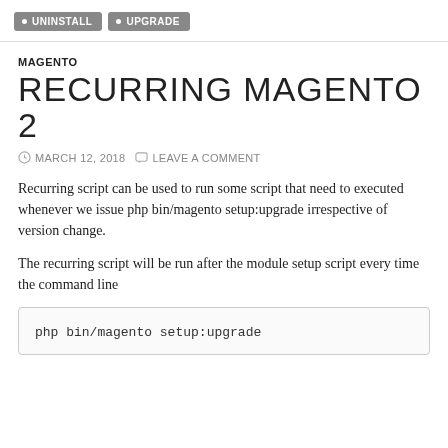UNINSTALL  UPGRADE
MAGENTO
RECURRING MAGENTO 2
MARCH 12, 2018   LEAVE A COMMENT
Recurring script can be used to run some script that need to executed whenever we issue php bin/magento setup:upgrade irrespective of version change.
The recurring script will be run after the module setup script every time the command line
php bin/magento setup:upgrade